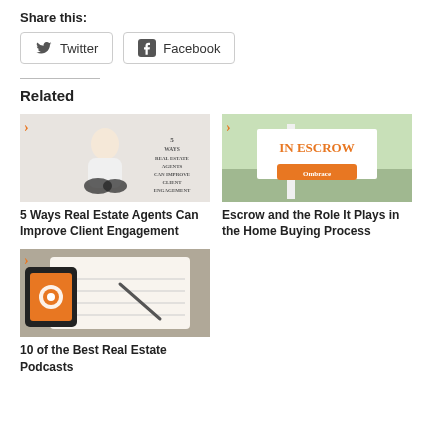Share this:
Twitter   Facebook
Related
[Figure (photo): Woman sitting cross-legged looking stressed, with overlaid text '5 Ways Real Estate Agents Can Improve Client Engagement']
5 Ways Real Estate Agents Can Improve Client Engagement
[Figure (photo): Real estate yard sign reading 'IN ESCROW' with Embrace logo]
Escrow and the Role It Plays in the Home Buying Process
[Figure (photo): Hand writing in notebook with phone showing Embrace logo app]
10 of the Best Real Estate Podcasts